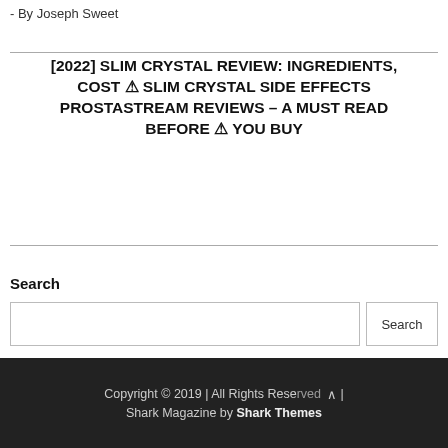- By Joseph Sweet
[2022] SLIM CRYSTAL REVIEW: INGREDIENTS, COST ⚠ SLIM CRYSTAL SIDE EFFECTS PROSTASTREAM REVIEWS – A MUST READ BEFORE ⚠ YOU BUY
Search
Copyright © 2019 | All Rights Reserved | Shark Magazine by Shark Themes